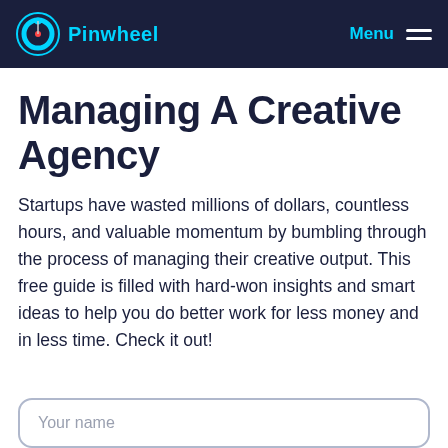Pinwheel   Menu
Managing A Creative Agency
Startups have wasted millions of dollars, countless hours, and valuable momentum by bumbling through the process of managing their creative output. This free guide is filled with hard-won insights and smart ideas to help you do better work for less money and in less time. Check it out!
Your name